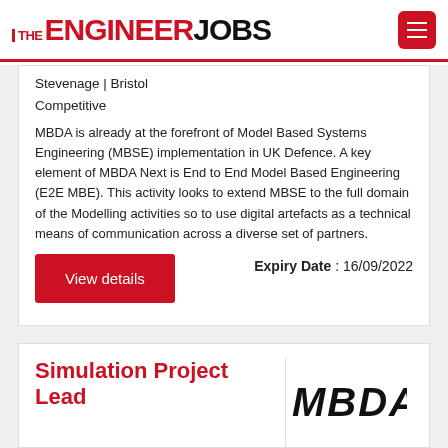THE ENGINEER JOBS
Stevenage | Bristol
Competitive
MBDA is already at the forefront of Model Based Systems Engineering (MBSE) implementation in UK Defence. A key element of MBDA Next is End to End Model Based Engineering (E2E MBE). This activity looks to extend MBSE to the full domain of the Modelling activities so to use digital artefacts as a technical means of communication across a diverse set of partners.
Expiry Date : 16/09/2022
View details
Simulation Project Lead
[Figure (logo): MBDA company logo in bold italic black text]